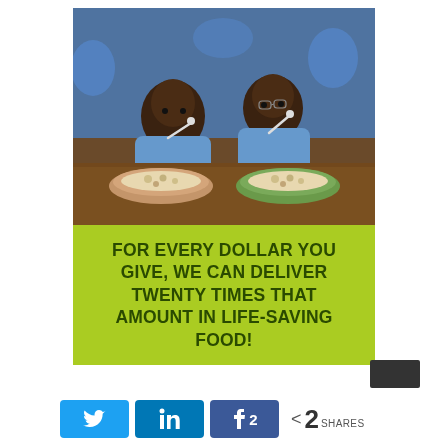[Figure (photo): Two young African schoolchildren in blue uniforms eating food from plates on a wooden table, with other children in blue uniforms visible in the background.]
FOR EVERY DOLLAR YOU GIVE, WE CAN DELIVER TWENTY TIMES THAT AMOUNT IN LIFE-SAVING FOOD!
[Figure (infographic): Social sharing bar with Twitter, LinkedIn, and Facebook (with count 2) share buttons, a share icon, the number 2, and SHARES label.]